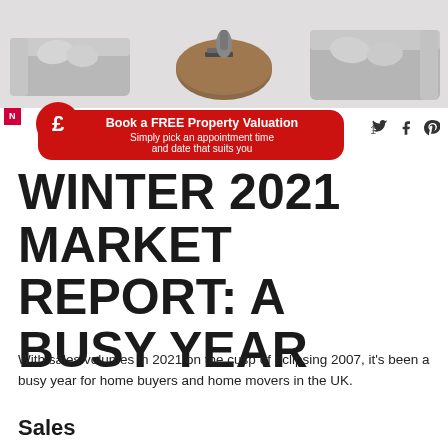[Figure (photo): Living room scene with grey sofas, cushions, and a round wooden coffee table with books, photographed from above at an angle — grey/neutral tones.]
[Figure (infographic): Red rounded-rectangle banner with a red circle containing a white pound sign (£) on the left. Text reads: 'Book a FREE Property Valuation / Simply pick an appointment time and date that suits you'. Social media icons (Twitter, Facebook, Pinterest) on the right.]
WINTER 2021 MARKET REPORT: A BUSY YEAR
With sales volumes in 2021 on the cusp of eclipsing 2007, it's been a busy year for home buyers and home movers in the UK.
Sales